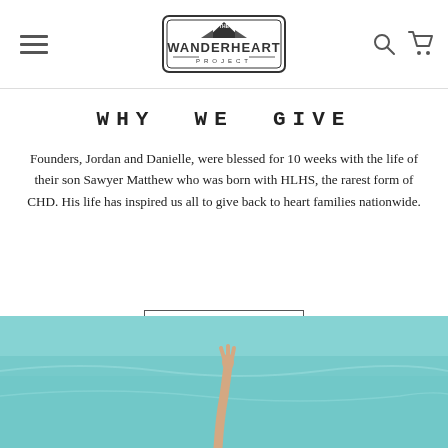The Wanderheart Project - navigation header
WHY WE GIVE
Founders, Jordan and Danielle, were blessed for 10 weeks with the life of their son Sawyer Matthew who was born with HLHS, the rarest form of CHD. His life has inspired us all to give back to heart families nationwide.
LEARN MORE
[Figure (photo): Photo of a hand raised above turquoise ocean water]